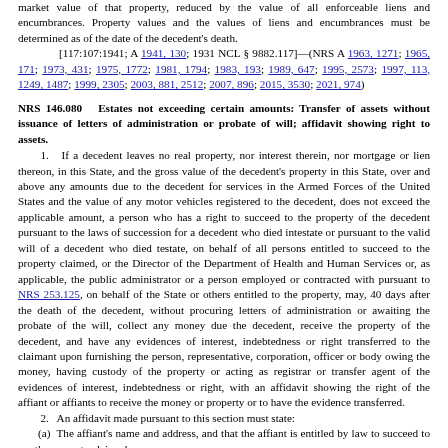market value of that property, reduced by the value of all enforceable liens and encumbrances. Property values and the values of liens and encumbrances must be determined as of the date of the decedent's death.
[117:107:1941; A 1941, 130; 1931 NCL § 9882.117]—(NRS A 1963, 1271; 1965, 171; 1973, 431; 1975, 1772; 1981, 1794; 1983, 193; 1989, 647; 1995, 2573; 1997, 113, 1249, 1487; 1999, 2305; 2003, 881, 2512; 2007, 896; 2015, 3530; 2021, 974)
NRS 146.080  Estates not exceeding certain amounts: Transfer of assets without issuance of letters of administration or probate of will; affidavit showing right to assets.
1.  If a decedent leaves no real property, nor interest therein, nor mortgage or lien thereon, in this State, and the gross value of the decedent's property in this State, over and above any amounts due to the decedent for services in the Armed Forces of the United States and the value of any motor vehicles registered to the decedent, does not exceed the applicable amount, a person who has a right to succeed to the property of the decedent pursuant to the laws of succession for a decedent who died intestate or pursuant to the valid will of a decedent who died testate, on behalf of all persons entitled to succeed to the property claimed, or the Director of the Department of Health and Human Services or, as applicable, the public administrator or a person employed or contracted with pursuant to NRS 253.125, on behalf of the State or others entitled to the property, may, 40 days after the death of the decedent, without procuring letters of administration or awaiting the probate of the will, collect any money due the decedent, receive the property of the decedent, and have any evidences of interest, indebtedness or right transferred to the claimant upon furnishing the person, representative, corporation, officer or body owing the money, having custody of the property or acting as registrar or transfer agent of the evidences of interest, indebtedness or right, with an affidavit showing the right of the affiant or affiants to receive the money or property or to have the evidence transferred.
2.  An affidavit made pursuant to this section must state:
(a)  The affiant's name and address, and that the affiant is entitled by law to succeed to the property claimed;